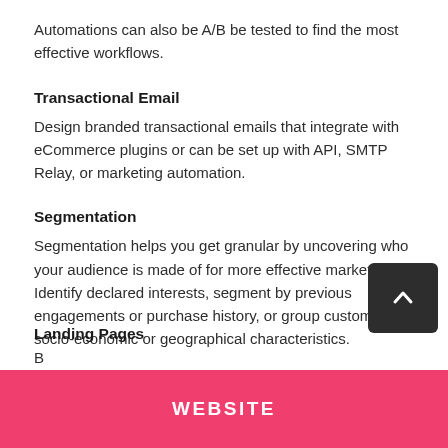Automations can also be A/B be tested to find the most effective workflows.
Transactional Email
Design branded transactional emails that integrate with eCommerce plugins or can be set up with API, SMTP Relay, or marketing automation.
Segmentation
Segmentation helps you get granular by uncovering who your audience is made of for more effective marketing. Identify declared interests, segment by previous engagements or purchase history, or group customers by socio-economic or geographical characteristics.
Landing Pages
B
WEBSITE